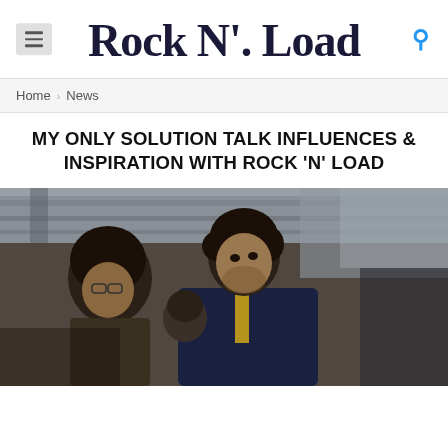Rock N' Load
Home › News
MY ONLY SOLUTION TALK INFLUENCES & INSPIRATION WITH ROCK 'N' LOAD
[Figure (photo): Band photo of My Only Solution members beneath a concrete underpass structure. Three young men visible: main figure center-right with dark curly hair and navy/yellow jacket looking upward, second figure on left with glasses and afro hair, third figure partially visible in background.]